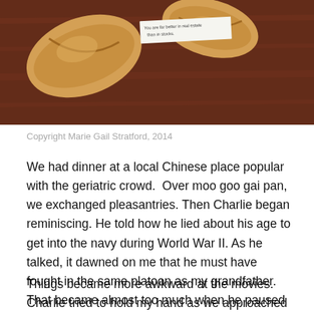[Figure (photo): Photo of a fortune cookie broken open on a dark wooden table, with a fortune paper slip reading text about real estate vs stocks]
Copyright Marie Gail Stratford, 2014
We had dinner at a local Chinese place popular with the geriatric crowd.  Over moo goo gai pan, we exchanged pleasantries. Then Charlie began reminiscing. He told how he lied about his age to get into the navy during World War II. As he talked, it dawned on me that he must have fought in the same platoon as my grandfather. That became almost too much when he paused and said, “Golly, sweetheart, we better get going if we want to catch that movie tonight.”
Things became more awkward at the movies. Charlie tried to hold my hand as we approached the box office. He